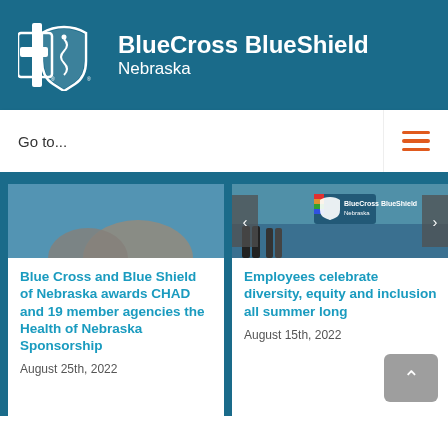[Figure (logo): BlueCross BlueShield Nebraska logo with cross and shield icons on teal background]
Go to...
[Figure (photo): Partial photo of a person's arm against blue background (left article)]
[Figure (photo): Photo showing BlueCross BlueShield Nebraska branded event with people, rainbow flag visible (right article)]
Blue Cross and Blue Shield of Nebraska awards CHAD and 19 member agencies the Health of Nebraska Sponsorship
August 25th, 2022
Employees celebrate diversity, equity and inclusion all summer long
August 15th, 2022